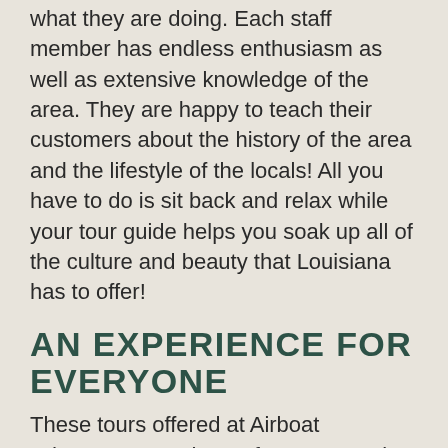what they are doing. Each staff member has endless enthusiasm as well as extensive knowledge of the area. They are happy to teach their customers about the history of the area and the lifestyle of the locals! All you have to do is sit back and relax while your tour guide helps you soak up all of the culture and beauty that Louisiana has to offer!
AN EXPERIENCE FOR EVERYONE
These tours offered at Airboat Adventures are the perfect opportunity to gather together with your friends and/or family to enjoy each other's company, as well as the company of the Louisiana wildlife! There are different sized boats to accommodate any group, so you can choose the smaller boats that fit between six and eight passengers, or you could opt for the larger boats that fit between fifteen and twenty-seven! You